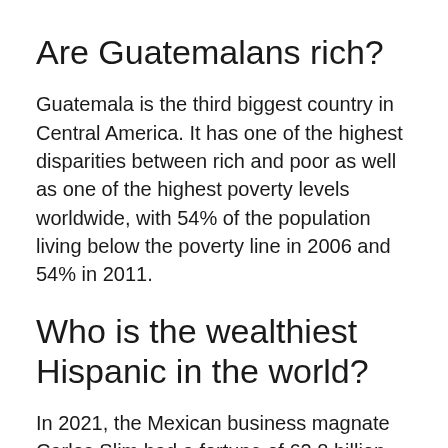Are Guatemalans rich?
Guatemala is the third biggest country in Central America. It has one of the highest disparities between rich and poor as well as one of the highest poverty levels worldwide, with 54% of the population living below the poverty line in 2006 and 54% in 2011.
Who is the wealthiest Hispanic in the world?
In 2021, the Mexican business magnate Carlos Slim had a fortune of 62.8 billion U.S. dollars and was thus the richest Latin American that year, followed by Mexican